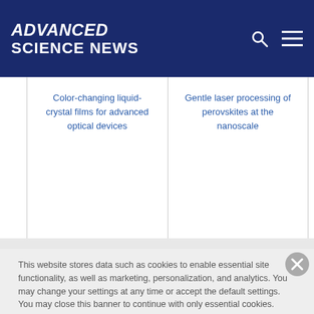ADVANCED SCIENCE NEWS
Color-changing liquid-crystal films for advanced optical devices
Gentle laser processing of perovskites at the nanoscale
This website stores data such as cookies to enable essential site functionality, as well as marketing, personalization, and analytics. You may change your settings at any time or accept the default settings. You may close this banner to continue with only essential cookies. Privacy Policy
Manage Preferences
Accept All
Reject All